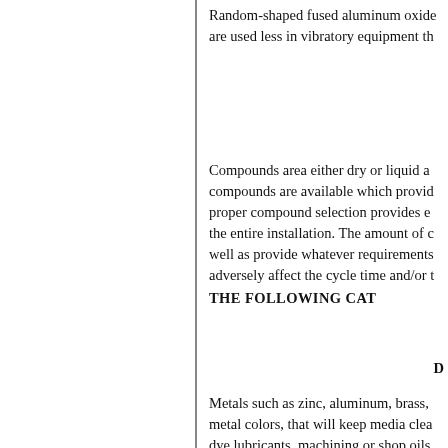Random-shaped fused aluminum oxide are used less in vibratory equipment th
Compounds area either dry or liquid a compounds are available which provid proper compound selection provides e the entire installation. The amount of c well as provide whatever requirements adversely affect the cycle time and/or t
THE FOLLOWING CAT
D
Metals such as zinc, aluminum, brass, metal colors, that will keep media clea dye lubricants, machining or shop oils. prevent residues from depositing on m